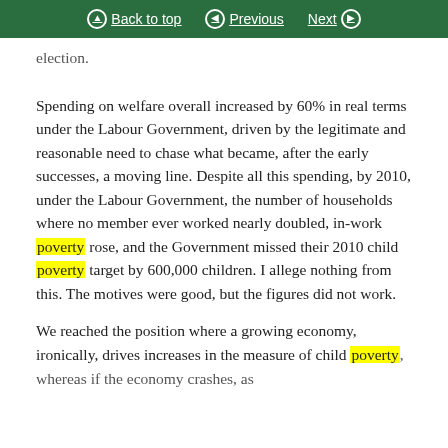Back to top | Previous | Next
election.
Spending on welfare overall increased by 60% in real terms under the Labour Government, driven by the legitimate and reasonable need to chase what became, after the early successes, a moving line. Despite all this spending, by 2010, under the Labour Government, the number of households where no member ever worked nearly doubled, in-work poverty rose, and the Government missed their 2010 child poverty target by 600,000 children. I allege nothing from this. The motives were good, but the figures did not work.
We reached the position where a growing economy, ironically, drives increases in the measure of child poverty, whereas if the economy crashes, as